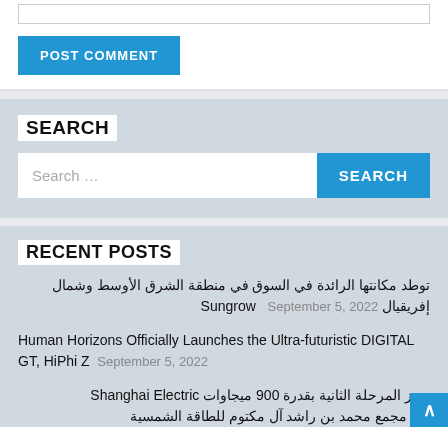[Figure (screenshot): POST COMMENT button (blue) above a comment input section]
SEARCH
Search ... [Search button]
RECENT POSTS
توطد مكانتها الرائدة في السوق في منطقة الشرق الأوسط وشمال إفريقيال Sungrow   September 5, 2022
Human Horizons Officially Launches the Ultra-futuristic DIGITAL GT, HiPhi Z   September 5, 2022
Shanghai Electric تنجز المرحلة الثانية بقدرة 900 ميجاوات من مجمع محمد بن راشد آل مكتوم للطاقة الشمسية